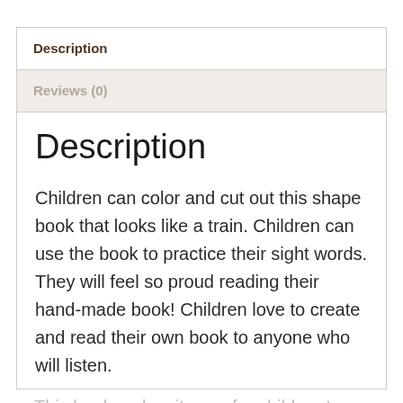Description
Reviews (0)
Description
Children can color and cut out this shape book that looks like a train. Children can use the book to practice their sight words. They will feel so proud reading their hand-made book! Children love to create and read their own book to anyone who will listen.
This book makes it easy for children to